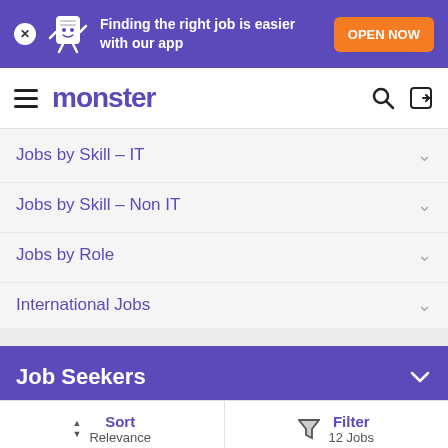[Figure (screenshot): Monster job portal mobile app banner with purple background, mascot icon, text 'Finding the right job is easier with our app', and orange 'OPEN NOW' button]
monster
Jobs by Skill – IT
Jobs by Skill – Non IT
Jobs by Role
International Jobs
Job Seekers
Sort Relevance
Filter 12 Jobs